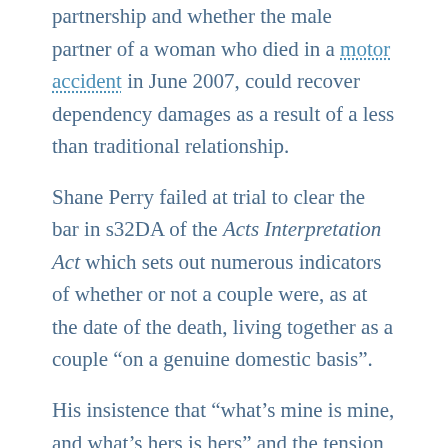partnership and whether the male partner of a woman who died in a motor accident in June 2007, could recover dependency damages as a result of a less than traditional relationship. Shane Perry failed at trial to clear the bar in s32DA of the Acts Interpretation Act which sets out numerous indicators of whether or not a couple were, as at the date of the death, living together as a couple “on a genuine domestic basis”. His insistence that “what’s mine is mine, and what’s hers is hers” and the tension in his relationship with the deceased’s adult children, were the two factors which led to the trial judge to conclude that their co-habitation was inconsistent with a genuine